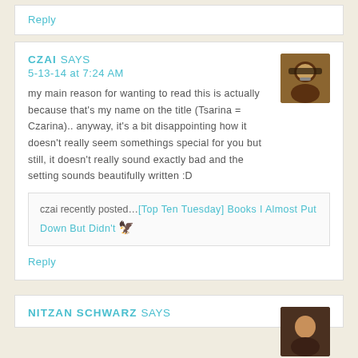Reply
CZAI SAYS
5-13-14 at 7:24 AM
my main reason for wanting to read this is actually because that's my name on the title (Tsarina = Czarina).. anyway, it's a bit disappointing how it doesn't really seem somethings special for you but still, it doesn't really sound exactly bad and the setting sounds beautifully written :D
czai recently posted...[Top Ten Tuesday] Books I Almost Put Down But Didn't
Reply
NITZAN SCHWARZ SAYS